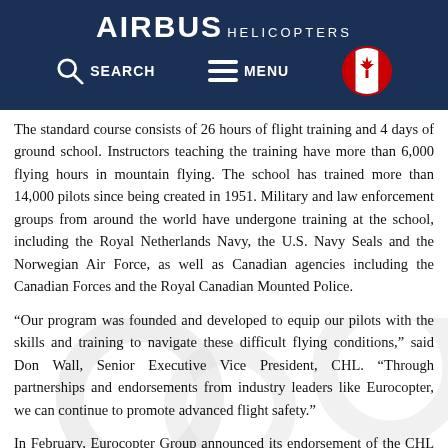AIRBUS HELICOPTERS — Navigation bar with Search, Menu, and Canadian flag
The standard course consists of 26 hours of flight training and 4 days of ground school. Instructors teaching the training have more than 6,000 flying hours in mountain flying. The school has trained more than 14,000 pilots since being created in 1951. Military and law enforcement groups from around the world have undergone training at the school, including the Royal Netherlands Navy, the U.S. Navy Seals and the Norwegian Air Force, as well as Canadian agencies including the Canadian Forces and the Royal Canadian Mounted Police.
“Our program was founded and developed to equip our pilots with the skills and training to navigate these difficult flying conditions,” said Don Wall, Senior Executive Vice President, CHL. “Through partnerships and endorsements from industry leaders like Eurocopter, we can continue to promote advanced flight safety.”
In February, Eurocopter Group announced its endorsement of the CHL Advanced Mountain Flying Training program after the program was audited and approved by Didier Delsalle, a Eurocopter test pilot who received worldwide recognition in May 2005 when he landed an AS350 B3 on the summit of Mount Everest.